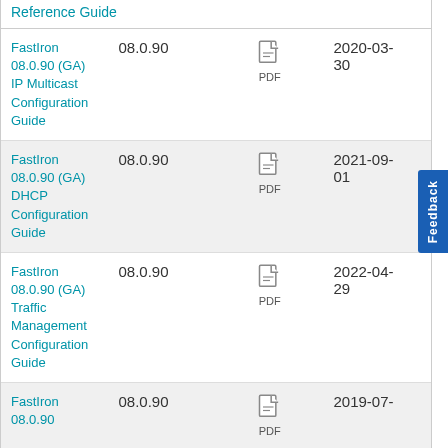| Title | Version | Format | Date |
| --- | --- | --- | --- |
| FastIron 08.0.90 (GA) IP Multicast Configuration Guide | 08.0.90 | PDF | 2020-03-30 |
| FastIron 08.0.90 (GA) DHCP Configuration Guide | 08.0.90 | PDF | 2021-09-01 |
| FastIron 08.0.90 (GA) Traffic Management Configuration Guide | 08.0.90 | PDF | 2022-04-29 |
| FastIron 08.0.90 | 08.0.90 | PDF | 2019-07- |